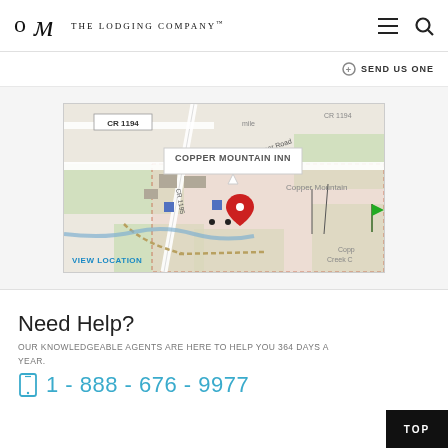The Lodging Company
SEND US ONE
[Figure (map): Map showing location of Copper Mountain Inn with a red location pin, road labels including CR 1194, CR 1195, Copper Road, and a VIEW LOCATION link]
Need Help?
OUR KNOWLEDGEABLE AGENTS ARE HERE TO HELP YOU 364 DAYS A YEAR.
1 - 888 - 676 - 9977